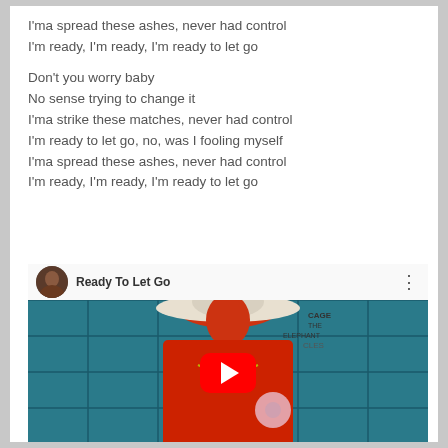I'ma spread these ashes, never had control
I'm ready, I'm ready, I'm ready to let go
Don't you worry baby
No sense trying to change it
I'ma strike these matches, never had control
I'm ready to let go, no, was I fooling myself
I'ma spread these ashes, never had control
I'm ready, I'm ready, I'm ready to let go
[Figure (screenshot): YouTube video embed showing 'Ready To Let Go' with a person in a red outfit and white cowboy hat against a teal tiled background, with YouTube play button overlay]